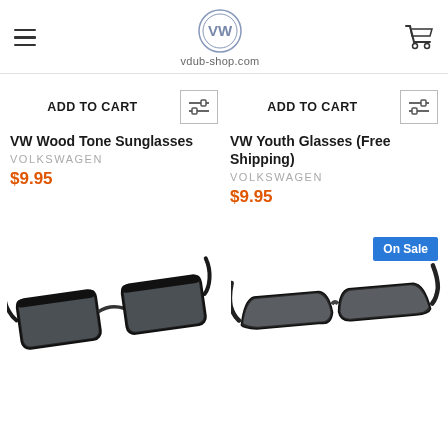vdub-shop.com
ADD TO CART
ADD TO CART
VW Wood Tone Sunglasses
VOLKSWAGEN
$9.95
VW Youth Glasses (Free Shipping)
VOLKSWAGEN
$9.95
On Sale
[Figure (photo): Black framed VW sunglasses (wayfarer style) shown at an angle]
[Figure (photo): Dark framed VW sport sunglasses shown at an angle]